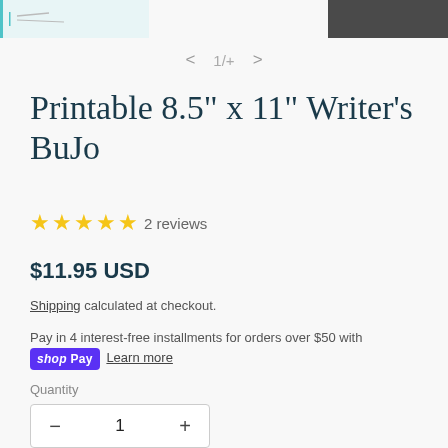[Figure (screenshot): Top portion of a product image thumbnail with teal left border and dark right block]
< 1/+ >
Printable 8.5" x 11" Writer's BuJo
★★★★★ 2 reviews
$11.95 USD
Shipping calculated at checkout.
Pay in 4 interest-free installments for orders over $50 with Shop Pay Learn more
Quantity
− 1 +